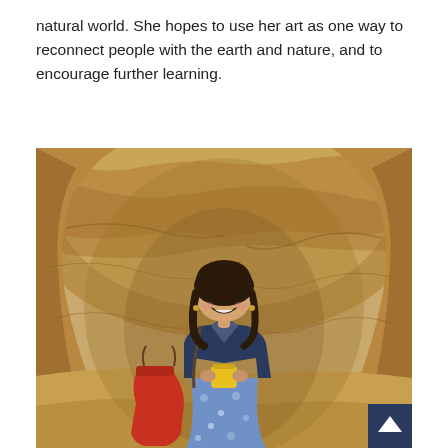natural world. She hopes to use her art as one way to reconnect people with the earth and nature, and to encourage further learning.
[Figure (photo): A smiling young woman with long dark hair sits inside a sandstone cave or alcove. She wears a dark blue jacket over a blue floral skirt and holds a yellow travel mug. A red bag sits beside her on the sandy ground. A small dark blue scroll-to-top button with a white triangle appears in the bottom-right corner of the image.]